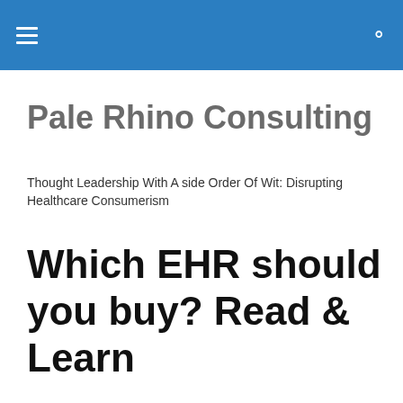Pale Rhino Consulting
Thought Leadership With A side Order Of Wit: Disrupting Healthcare Consumerism
Which EHR should you buy? Read & Learn